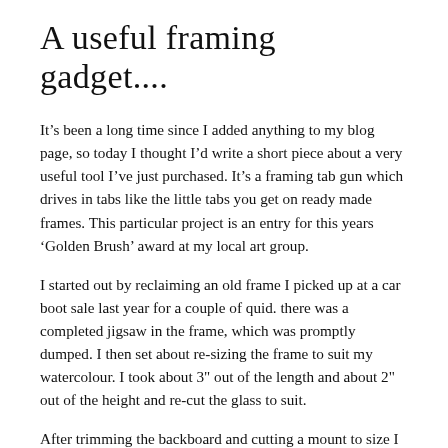A useful framing gadget....
It's been a long time since I added anything to my blog page, so today I thought I'd write a short piece about a very useful tool I've just purchased. It's a framing tab gun which drives in tabs like the little tabs you get on ready made frames. This particular project is an entry for this years 'Golden Brush' award at my local art group.
I started out by reclaiming an old frame I picked up at a car boot sale last year for a couple of quid. there was a completed jigsaw in the frame, which was promptly dumped. I then set about re-sizing the frame to suit my watercolour. I took about 3" out of the length and about 2" out of the height and re-cut the glass to suit.
After trimming the backboard and cutting a mount to size I then replaced all the old fixings (which were rusty panel pins) with this new gadget. I was very impressed with the